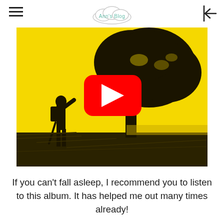Ann's Blog
[Figure (screenshot): YouTube video thumbnail showing a black silhouette of a person with a backpack and a large tree against a bright yellow background, with a red YouTube play button overlay in the center.]
If you can't fall asleep, I recommend you to listen to this album. It has helped me out many times already!